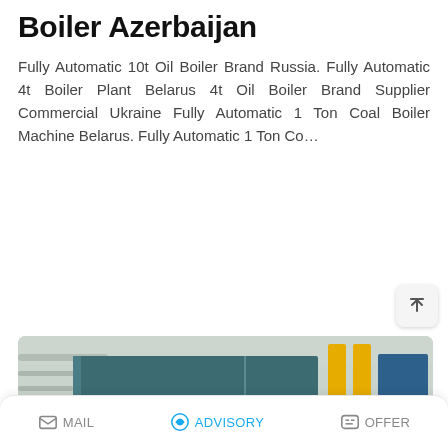Boiler Azerbaijan
Fully Automatic 10t Oil Boiler Brand Russia. Fully Automatic 4t Boiler Plant Belarus 4t Oil Boiler Brand Supplier Commercial Ukraine Fully Automatic 1 Ton Coal Boiler Machine Belarus. Fully Automatic 1 Ton Co…
READ MORE
[Figure (photo): Photo of an industrial boiler unit inside a factory/plant. The boiler is a large teal/dark green rectangular unit with Chinese red characters on the front. Yellow vertical pipes are visible on the right side. Various piping runs along the walls and ceiling. A WhatsApp sticker-save overlay popup is visible at the bottom-left of the image.]
MAIL   ADVISORY   OFFER